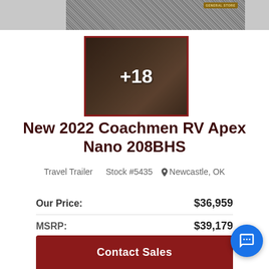[Figure (photo): Top banner with gravel texture background and General Store badge, gray side panels]
[Figure (photo): Interior thumbnail photo of RV with wooden cabinetry, overlaid with +18 indicating 18 more photos]
New 2022 Coachmen RV Apex Nano 208BHS
Travel Trailer   Stock #5435   Newcastle, OK
| Label | Value |
| --- | --- |
| Our Price: | $36,959 |
| MSRP: | $39,179 |
| You Save: | $2,220 |
Contact Sales